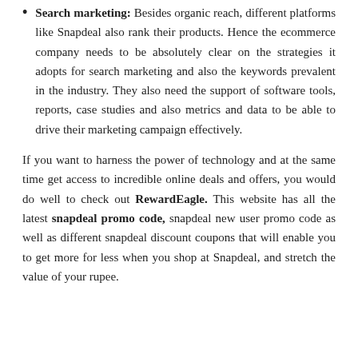Search marketing: Besides organic reach, different platforms like Snapdeal also rank their products. Hence the ecommerce company needs to be absolutely clear on the strategies it adopts for search marketing and also the keywords prevalent in the industry. They also need the support of software tools, reports, case studies and also metrics and data to be able to drive their marketing campaign effectively.
If you want to harness the power of technology and at the same time get access to incredible online deals and offers, you would do well to check out RewardEagle. This website has all the latest snapdeal promo code, snapdeal new user promo code as well as different snapdeal discount coupons that will enable you to get more for less when you shop at Snapdeal, and stretch the value of your rupee.